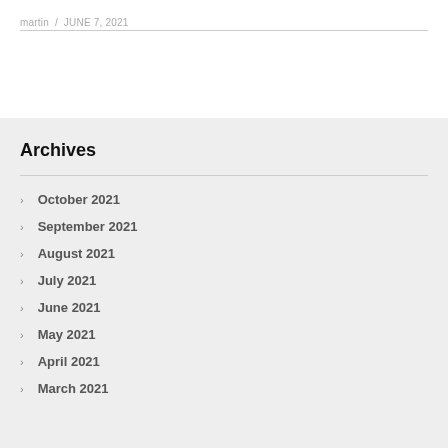martin / JUNE 7, 2021
Archives
October 2021
September 2021
August 2021
July 2021
June 2021
May 2021
April 2021
March 2021